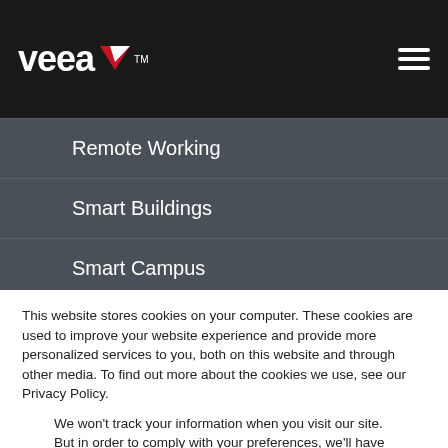veea™ [logo with navigation hamburger menu]
Remote Working
Smart Buildings
Smart Campus
Smart Cities
This website stores cookies on your computer. These cookies are used to improve your website experience and provide more personalized services to you, both on this website and through other media. To find out more about the cookies we use, see our Privacy Policy.
We won't track your information when you visit our site. But in order to comply with your preferences, we'll have to use just one tiny cookie so that you're not asked to make this choice again.
Accept | Decline